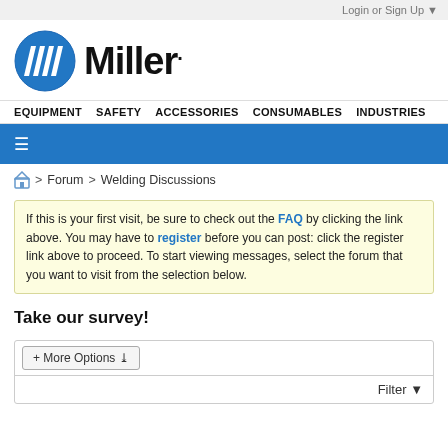Login or Sign Up ▼
[Figure (logo): Miller Electric logo — blue circle with white M stripes and bold 'Miller.' text]
EQUIPMENT   SAFETY   ACCESSORIES   CONSUMABLES   INDUSTRIES
≡ (hamburger menu on blue bar)
> Forum > Welding Discussions
If this is your first visit, be sure to check out the FAQ by clicking the link above. You may have to register before you can post: click the register link above to proceed. To start viewing messages, select the forum that you want to visit from the selection below.
Take our survey!
+ More Options ∨
Filter ▼